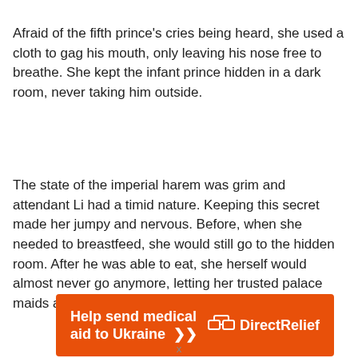Afraid of the fifth prince's cries being heard, she used a cloth to gag his mouth, only leaving his nose free to breathe. She kept the infant prince hidden in a dark room, never taking him outside.
The state of the imperial harem was grim and attendant Li had a timid nature. Keeping this secret made her jumpy and nervous. Before, when she needed to breastfeed, she would still go to the hidden room. After he was able to eat, she herself would almost never go anymore, letting her trusted palace maids and eunuchs do the feeding.
[Figure (other): Advertisement banner for Direct Relief: orange background with bold white text 'Help send medical aid to Ukraine >>' and the Direct Relief logo on the right.]
x